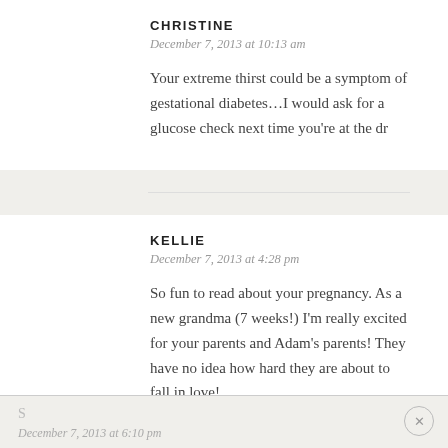CHRISTINE
December 7, 2013 at 10:13 am
Your extreme thirst could be a symptom of gestational diabetes…I would ask for a glucose check next time you’re at the dr
KELLIE
December 7, 2013 at 4:28 pm
So fun to read about your pregnancy. As a new grandma (7 weeks!) I’m really excited for your parents and Adam’s parents! They have no idea how hard they are about to fall in love!
S
December 7, 2013 at 6:10 pm